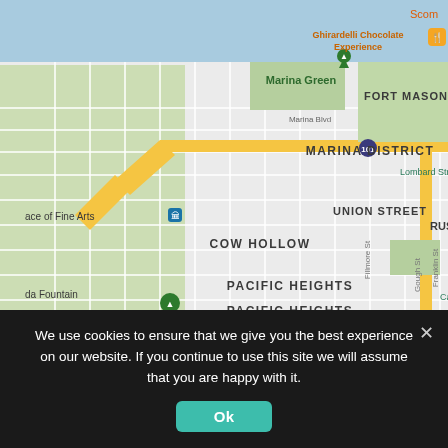[Figure (map): Google Maps view of San Francisco neighborhoods: Marina District, Cow Hollow, Pacific Heights, Presidio Heights, Fort Mason. Shows Marina Green, Ghirardelli Chocolate Experience, Lombard Street, Union Street, Alta Plaza Park, Lafayette Park, and road markers including route 101. Yellow highlighted roads shown.]
We use cookies to ensure that we give you the best experience on our website. If you continue to use this site we will assume that you are happy with it.